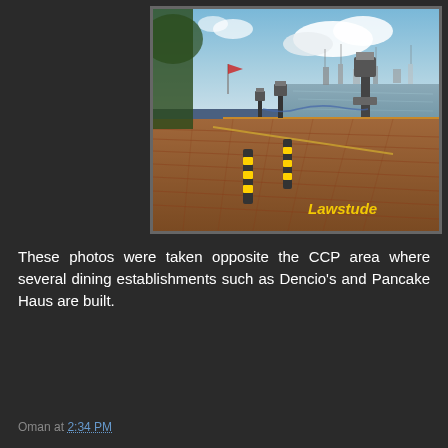[Figure (photo): Waterfront promenade with brick paving, black and yellow striped bollards, decorative street lamps on a seawall, boats visible on calm water in the background, partly cloudy sky. Text watermark 'Lawstude' in yellow italic in the lower right corner.]
These photos were taken opposite the CCP area where several dining establishments such as Dencio's and Pancake Haus are built.
Oman at 2:34 PM